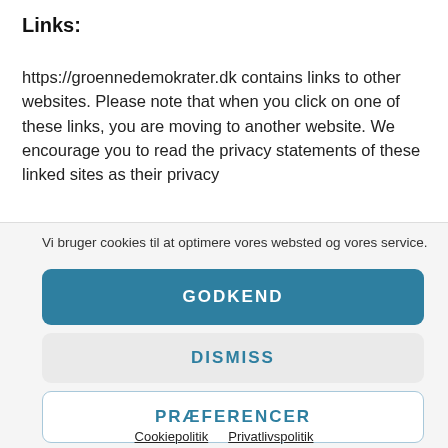Links:
https://groennedemokrater.dk contains links to other websites. Please note that when you click on one of these links, you are moving to another website. We encourage you to read the privacy statements of these linked sites as their privacy
Vi bruger cookies til at optimere vores websted og vores service.
GODKEND
DISMISS
PRÆFERENCER
Cookiepolitik   Privatlivspolitik